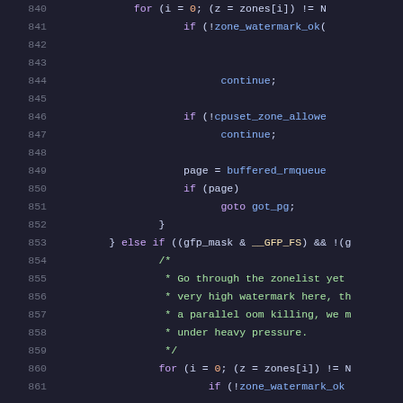[Figure (screenshot): Source code listing showing lines 840-861 of a C kernel file, with syntax highlighting. Dark background with colored tokens for keywords, functions, comments, and variables.]